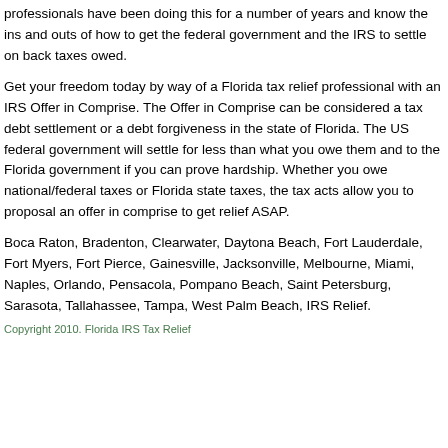professionals have been doing this for a number of years and know the ins and outs of how to get the federal government and the IRS to settle on back taxes owed.
Get your freedom today by way of a Florida tax relief professional with an IRS Offer in Comprise. The Offer in Comprise can be considered a tax debt settlement or a debt forgiveness in the state of Florida. The US federal government will settle for less than what you owe them and to the Florida government if you can prove hardship. Whether you owe national/federal taxes or Florida state taxes, the tax acts allow you to proposal an offer in comprise to get relief ASAP.
Boca Raton, Bradenton, Clearwater, Daytona Beach, Fort Lauderdale, Fort Myers, Fort Pierce, Gainesville, Jacksonville, Melbourne, Miami, Naples, Orlando, Pensacola, Pompano Beach, Saint Petersburg, Sarasota, Tallahassee, Tampa, West Palm Beach, IRS Relief.
Copyright 2010. Florida IRS Tax Relief